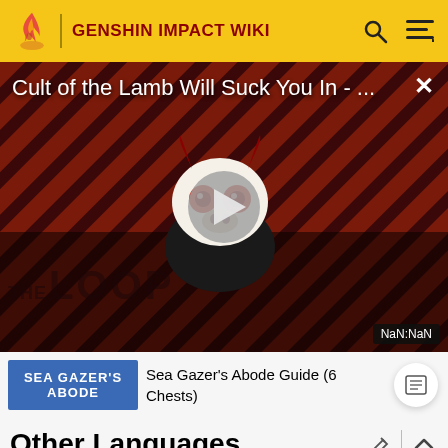GENSHIN IMPACT WIKI
[Figure (screenshot): Video player overlay showing 'Cult of the Lamb Will Suck You In - ...' with a play button, 'THE LOOP' watermark, and NaN:NaN duration badge. Background has diagonal red/dark stripe pattern with a cartoon character.]
Sea Gazer's Abode Guide (6 Chests)
Other Languages